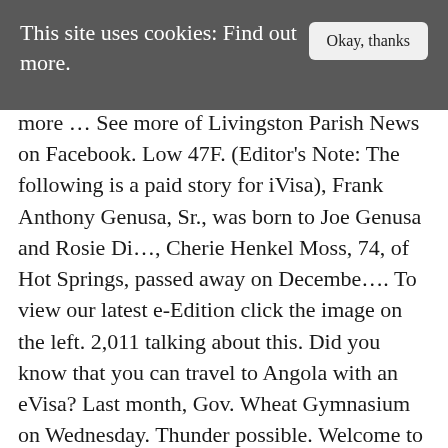This site uses cookies: Find out more.
Okay, thanks
more ... See more of Livingston Parish News on Facebook. Low 47F. (Editor's Note: The following is a paid story for iVisa), Frank Anthony Genusa, Sr., was born to Joe Genusa and Rosie Di..., Cherie Henkel Moss, 74, of Hot Springs, passed away on Decembe.... To view our latest e-Edition click the image on the left. 2,011 talking about this. Did you know that you can travel to Angola with an eVisa? Last month, Gov. Wheat Gymnasium on Wednesday. Thunder possible. Welcome to the official Facebook page for Livingston Parish, Louisiana -